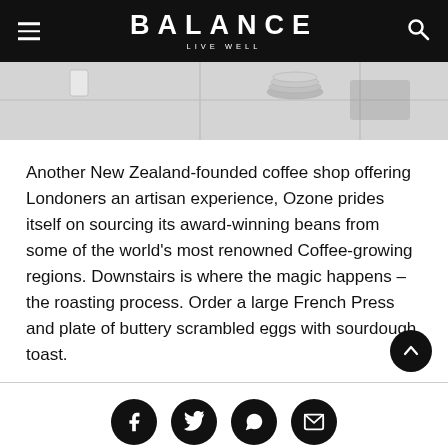BALANCE — LIVE WELL
[Figure (photo): Partial view of a cafe/coffee shop interior showing a white table surface with stacked plates and coffee items]
Another New Zealand-founded coffee shop offering Londoners an artisan experience, Ozone prides itself on sourcing its award-winning beans from some of the world's most renowned Coffee-growing regions. Downstairs is where the magic happens – the roasting process. Order a large French Press and plate of buttery scrambled eggs with sourdough toast.
[Figure (infographic): Social sharing icons row: Facebook, Twitter, WhatsApp, Email]